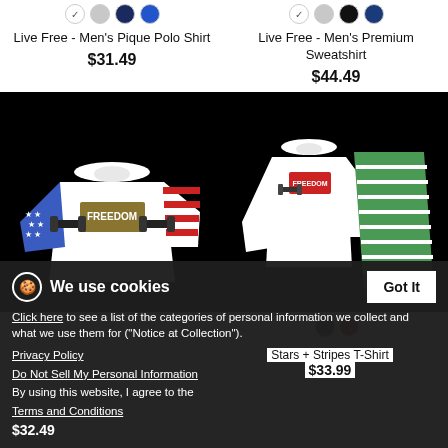Live Free - Men's Pique Polo Shirt
$31.49
Live Free - Men's Premium Sweatshirt
$44.49
[Figure (photo): White t-shirt with American flag sleeves and FREEDOM graphic, on black background]
[Figure (photo): White long-sleeve shirt and green striped pants pajama set on black background]
We use cookies
Click here to see a list of the categories of personal information we collect and what we use them for ("Notice at Collection").
Privacy Policy
Do Not Sell My Personal Information
By using this website, I agree to the Terms and Conditions
Stars + Stripes T-Shirt
$33.99
$32.49